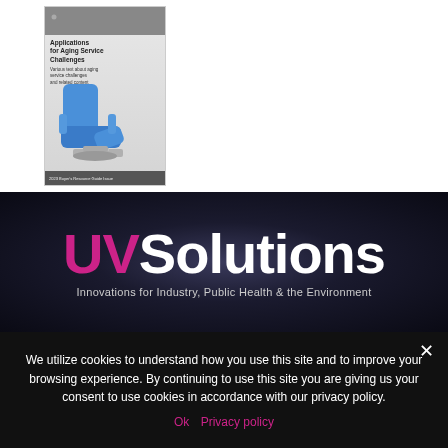[Figure (illustration): Magazine cover thumbnail showing a blue dental/medical chair, a person silhouette, and text about aging service challenges. Gray and blue tones.]
[Figure (logo): UV Solutions logo with 'UV' in magenta/pink and 'Solutions' in white bold text on dark background, with tagline 'Innovations for Industry, Public Health & the Environment']
We utilize cookies to understand how you use this site and to improve your browsing experience. By continuing to use this site you are giving us your consent to use cookies in accordance with our privacy policy.
Ok   Privacy policy